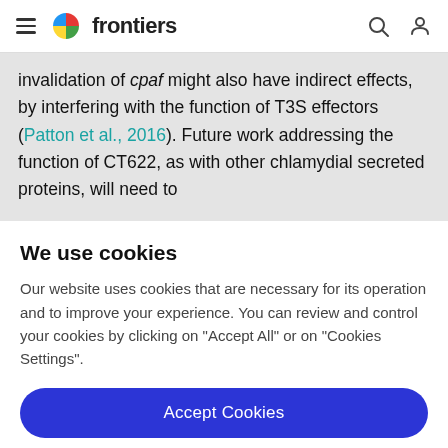frontiers
invalidation of cpaf might also have indirect effects, by interfering with the function of T3S effectors (Patton et al., 2016). Future work addressing the function of CT622, as with other chlamydial secreted proteins, will need to
We use cookies
Our website uses cookies that are necessary for its operation and to improve your experience. You can review and control your cookies by clicking on "Accept All" or on "Cookies Settings".
Accept Cookies
Cookies Settings